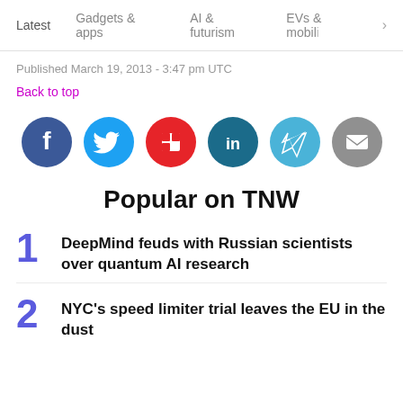Latest  Gadgets & apps  AI & futurism  EVs & mobili >
Published March 19, 2013 - 3:47 pm UTC
Back to top
[Figure (infographic): Row of six social media sharing icons: Facebook (blue circle), Twitter (blue circle), Flipboard (red circle), LinkedIn (dark teal circle), Telegram (light blue circle), Email (gray circle)]
Popular on TNW
DeepMind feuds with Russian scientists over quantum AI research
NYC's speed limiter trial leaves the EU in the dust